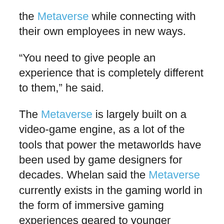the Metaverse while connecting with their own employees in new ways.
“You need to give people an experience that is completely different to them,” he said.
The Metaverse is largely built on a video-game engine, as a lot of the tools that power the metaworlds have been used by game designers for decades. Whelan said the Metaverse currently exists in the gaming world in the form of immersive gaming experiences geared to younger audiences.
He explained that more businesses are jumping on the Metaverse bandwagon because it is an opportunity to earn brand recognition with a younger audience that is growing up in immersive